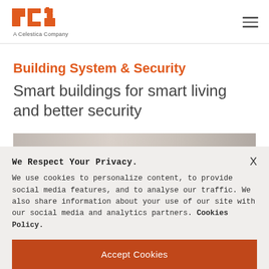PCI — A Celestica Company
Building System & Security
Smart buildings for smart living and better security
[Figure (photo): Partial view of a building or interior scene, partially obscured by the cookie banner overlay.]
We Respect Your Privacy.

We use cookies to personalize content, to provide social media features, and to analyse our traffic. We also share information about your use of our site with our social media and analytics partners. Cookies Policy.
Accept Cookies